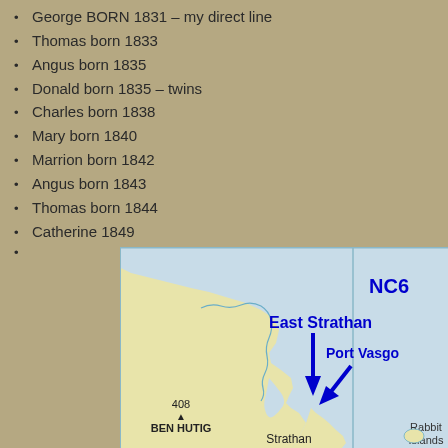George BORN 1831 – my direct line
Thomas born 1833
Angus born 1835
Donald born 1835 – twins
Charles born 1838
Mary born 1840
Marrion born 1842
Angus born 1843
Thomas born 1844
Catherine 1849
[Figure (map): Map showing East Strathan and Port Vasgo locations near Strathan and Ben Hutig (408m), with Rabbit Islands visible. Grid reference NC6 shown. Blue arrows pointing to East Strathan and Port Vasgo.]